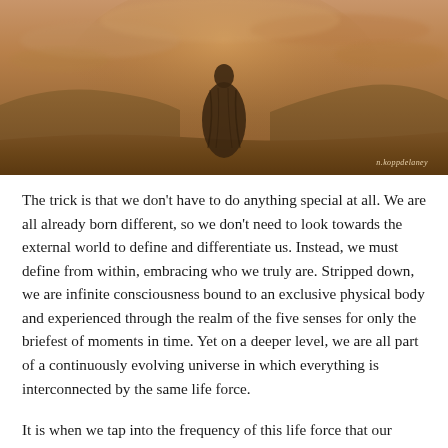[Figure (photo): Sepia-toned photograph of a robed figure standing on a hilltop or open landscape with mountains and dramatic cloudy sky in the background. A watermark reads 'n.koppdelaney' in the bottom right corner.]
The trick is that we don't have to do anything special at all. We are all already born different, so we don't need to look towards the external world to define and differentiate us. Instead, we must define from within, embracing who we truly are. Stripped down, we are infinite consciousness bound to an exclusive physical body and experienced through the realm of the five senses for only the briefest of moments in time. Yet on a deeper level, we are all part of a continuously evolving universe in which everything is interconnected by the same life force.
It is when we tap into the frequency of this life force that our natural-born uniqueness is able to shine through with love in the purest of forms. Unbounded by judgment, expectations and - most importantly - control, the mask comes completely off and our heart becomes open and vulnerable to the flow of infinite consciousness. Only through